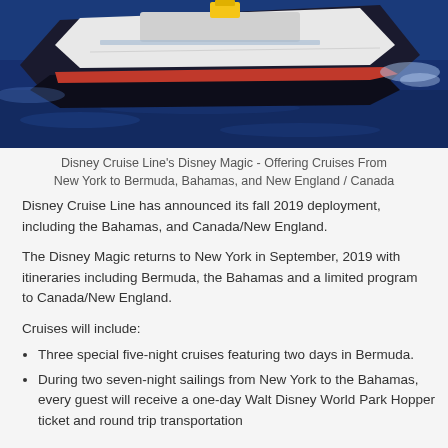[Figure (photo): Aerial view of Disney Cruise Line ship (Disney Magic) sailing on deep blue ocean water, seen from above at an angle showing the bow and upper decks.]
Disney Cruise Line's Disney Magic - Offering Cruises From New York to Bermuda, Bahamas, and New England / Canada
Disney Cruise Line has announced its fall 2019 deployment, including the Bahamas, and Canada/New England.
The Disney Magic returns to New York in September, 2019 with itineraries including Bermuda, the Bahamas and a limited program to Canada/New England.
Cruises will include:
Three special five-night cruises featuring two days in Bermuda.
During two seven-night sailings from New York to the Bahamas, every guest will receive a one-day Walt Disney World Park Hopper ticket and round trip transportation